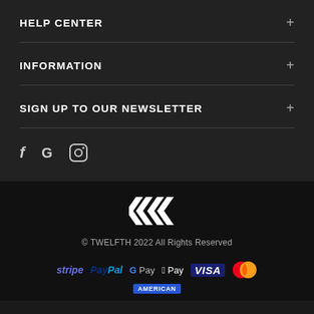HELP CENTER
INFORMATION
SIGN UP TO OUR NEWSLETTER
[Figure (illustration): Social media icons: Facebook (f), Google (G), Instagram (camera icon)]
[Figure (logo): Twelfth brand logo: double-chevron 'XV' style mark in white]
© TWELFTH 2022 All Rights Reserved
[Figure (infographic): Payment method logos: stripe, PayPal, G Pay, Apple Pay, VISA, MasterCard, American Express]